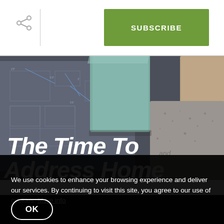SUBSCRIBE
[Figure (photo): Architectural blueprint drawings with material color swatches overlaid on top — teal/green foam block, beige/tan textured swatch, granite-like swatch — photographed from above on a dark background]
The Time To Address Home
We use cookies to enhance your browsing experience and deliver our services. By continuing to visit this site, you agree to our use of cookies. More info
OK